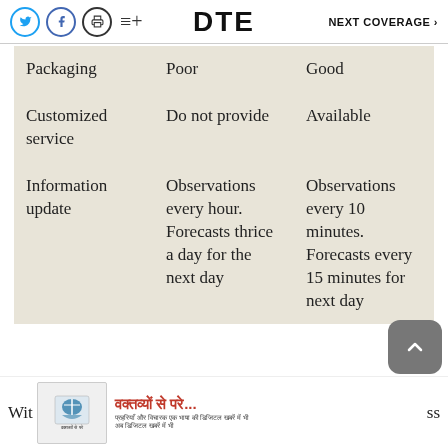DTE  NEXT COVERAGE >
|  | Poor | Good |
| --- | --- | --- |
| Packaging | Poor | Good |
| Customized service | Do not provide | Available |
| Information update | Observations every hour. Forecasts thrice a day for the next day | Observations every 10 minutes. Forecasts every 15 minutes for next day |
Wit... ss
[Figure (infographic): Advertisement banner with Hindi text: वक्तव्यों से परे... with subtitle text and a logo/icon]